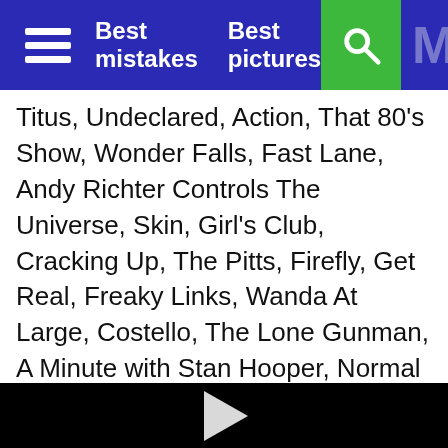Best mistakes   Best pictures
Titus, Undeclared, Action, That 80's Show, Wonder Falls, Fast Lane, Andy Richter Controls The Universe, Skin, Girl's Club, Cracking Up, The Pitts, Firefly, Get Real, Freaky Links, Wanda At Large, Costello, The Lone Gunman, A Minute with Stan Hooper, Normal Ohio, Pasadena, Harsh Realm, Keen Eddy, The Street, American Embassy, Cedric The Entertainer, The Tick, Louie, And Greg The Bunny...
Lois: Is there no hope?
Peter: Well I suppose if ALL those shows go down the
[Figure (screenshot): Black video player with white play button triangle in center]